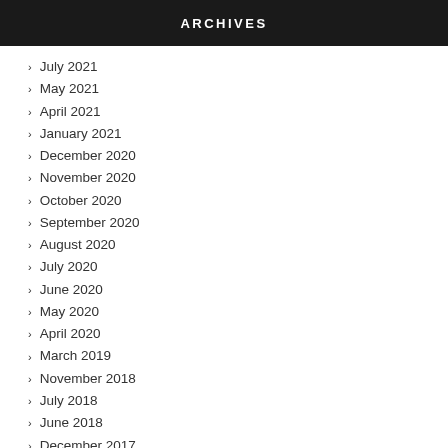ARCHIVES
July 2021
May 2021
April 2021
January 2021
December 2020
November 2020
October 2020
September 2020
August 2020
July 2020
June 2020
May 2020
April 2020
March 2019
November 2018
July 2018
June 2018
December 2017